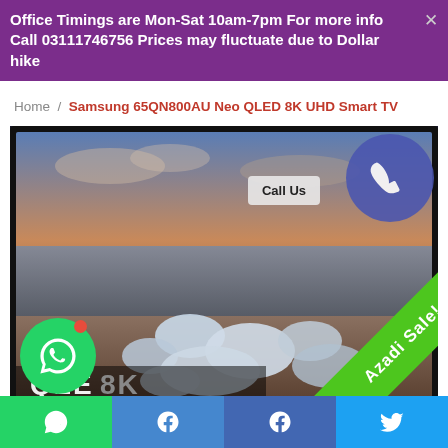Office Timings are Mon-Sat 10am-7pm For more info Call 03111746756 Prices may fluctuate due to Dollar hike
Home / Samsung 65QN800AU Neo QLED 8K UHD Smart TV
[Figure (photo): Samsung 65QN800AU Neo QLED 8K UHD Smart TV product image showing a scenic icy beach landscape on screen, with a 'Call Us' button overlay, a blue phone circle icon top-right, a WhatsApp circle bottom-left, and a green diagonal 'Azadi Sale!' ribbon bottom-right]
WhatsApp | Messenger | Facebook | Twitter social media icons bar